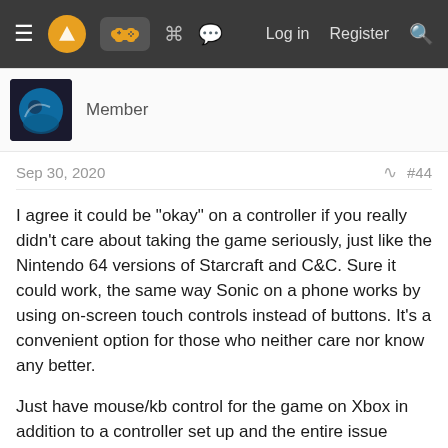Navigation bar with logo, controller icon, menu icons, Log in, Register, Search
Member
Sep 30, 2020  #44
I agree it could be "okay" on a controller if you really didn't care about taking the game seriously, just like the Nintendo 64 versions of Starcraft and C&C. Sure it could work, the same way Sonic on a phone works by using on-screen touch controls instead of buttons. It's a convenient option for those who neither care nor know any better.

Just have mouse/kb control for the game on Xbox in addition to a controller set up and the entire issue becomes moot. They already sell officially licensed mouse/kb sets for Xbox, if it doesn't work on a RTS game then why even sell it?